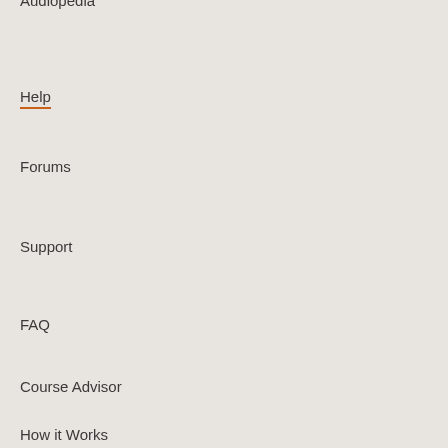Audiopedia
Redeem
Help
Legal
Forums
Privacy Policy
Support
Terms of Service
FAQ
RSS
New Content
Course Advisor
Courses
How it Works
Articles
App Downloads